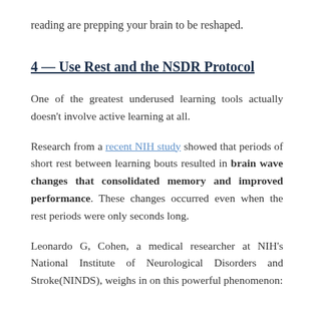reading are prepping your brain to be reshaped.
4 — Use Rest and the NSDR Protocol
One of the greatest underused learning tools actually doesn't involve active learning at all.
Research from a recent NIH study showed that periods of short rest between learning bouts resulted in brain wave changes that consolidated memory and improved performance. These changes occurred even when the rest periods were only seconds long.
Leonardo G, Cohen, a medical researcher at NIH's National Institute of Neurological Disorders and Stroke(NINDS), weighs in on this powerful phenomenon: